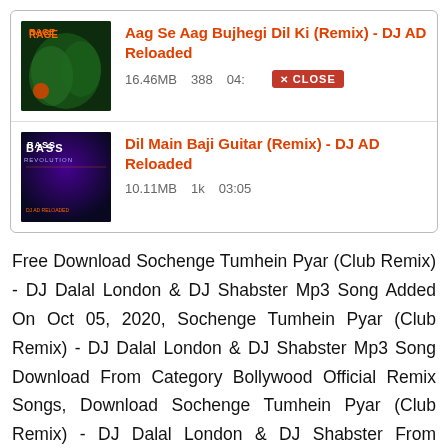Aag Se Aag Bujhegi Dil Ki (Remix) - DJ AD Reloaded
16.46MB  388  04:xx  CLOSE
Dil Main Baji Guitar (Remix) - DJ AD Reloaded
10.11MB  1k  03:05
Free Download Sochenge Tumhein Pyar (Club Remix) - DJ Dalal London & DJ Shabster Mp3 Song Added On Oct 05, 2020, Sochenge Tumhein Pyar (Club Remix) - DJ Dalal London & DJ Shabster Mp3 Song Download From Category Bollywood Official Remix Songs, Download Sochenge Tumhein Pyar (Club Remix) - DJ Dalal London & DJ Shabster From Groove To The Mashup (Kumar Sanu Edition) - DJ Dalal London Latest DJ Remix Album, Sochenge Tumhein Pyar (Club Remix) - DJ Dalal London & DJ Shabster Mp3 Song From DJ Dalal London,DJ Shabster New Exclusive Latest Songs, Sochenge Tumhein Pyar (Club Remix) -